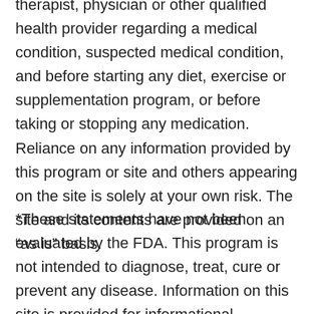therapist, physician or other qualified health provider regarding a medical condition, suspected medical condition, and before starting any diet, exercise or supplementation program, or before taking or stopping any medication. Reliance on any information provided by this program or site and others appearing on the site is solely at your own risk. The site and its contents are provided on an “as is” basis.
*These statements have not been evaluated by the FDA. This program is not intended to diagnose, treat, cure or prevent any disease. Information on this site is provided for informational purposes only, it is not meant to substitute medical advice provided by your